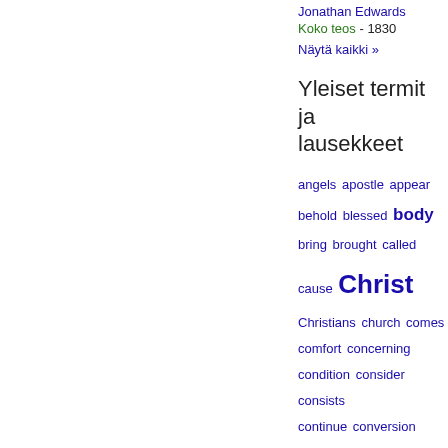Jonathan Edwards
Koko teos - 1830
Näytä kaikki »
Yleiset termit ja lausekkeet
angels apostle appear behold blessed body bring brought called cause Christ Christians church comes comfort concerning condition consider consists continue conversion creature darkness death delight desire devil divine dreadful earth elect